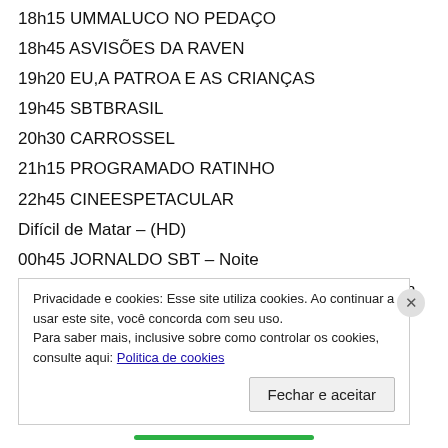18h15 UMMALUCO NO PEDAÇO
18h45 ASVISÕES DA RAVEN
19h20 EU,A PATROA E AS CRIANÇAS
19h45 SBTBRASIL
20h30 CARROSSEL
21h15 PROGRAMADO RATINHO
22h45 CINEESPETACULAR
Difícil de Matar – (HD)
00h45 JORNALDO SBT – Noite
01h30 DOISHOMENS E MEIO / Two and a Half Men
02h00 BIGBANG A TEORIA / The Big Bang Th...
Privacidade e cookies: Esse site utiliza cookies. Ao continuar a usar este site, você concorda com seu uso.
Para saber mais, inclusive sobre como controlar os cookies, consulte aqui: Politica de cookies
Fechar e aceitar